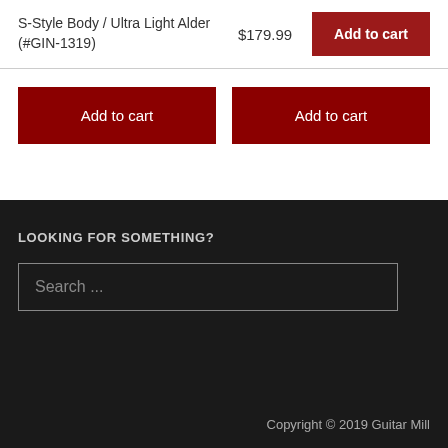S-Style Body / Ultra Light Alder (#GIN-1319)
$179.99
Add to cart
Add to cart
Add to cart
LOOKING FOR SOMETHING?
Search ...
Copyright © 2019 Guitar Mill